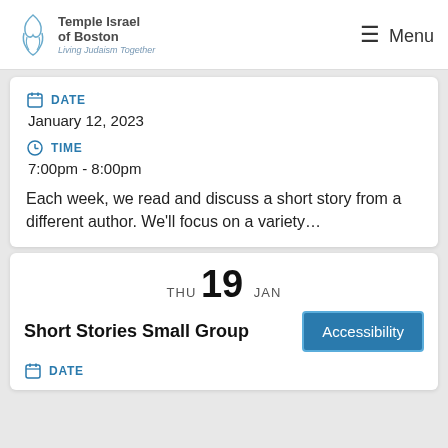Temple Israel of Boston — Menu
DATE
January 12, 2023
TIME
7:00pm - 8:00pm
Each week, we read and discuss a short story from a different author. We'll focus on a variety...
THU 19 JAN
Short Stories Small Group
DATE